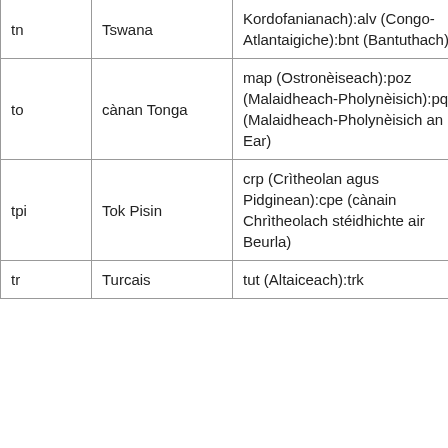| tn | Tswana | Kordofanianach):alv (Congo-Atlantaigiche):bnt (Bantuthach) | Labone ( |
| to | cànan Tonga | map (Ostronèiseach):poz (Malaidheach-Pholynèisich):pqe (Malaidheach-Pholynèisich an Ear) | Tu'apule |
| tpi | Tok Pisin | crp (Crìtheolan agus Pidginean):cpe (cànain Chrìtheolach stéidhichte air Beurla) | Fonde (t |
| tr | Turcais | tut (Altaiceach):trk | cuma ak |